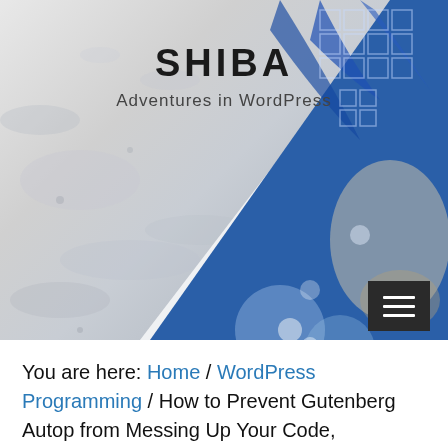[Figure (illustration): Hero banner image with light grey marble texture on the left and a blue-toned artistic portrait of a person with blue hair and grid pattern overlay on the right, with a diagonal white stripe dividing the two halves.]
SHIBA
Adventures in WordPress
You are here: Home / WordPress Programming / How to Prevent Gutenberg Autop from Messing Up Your Code, Shortcodes, and Scripts